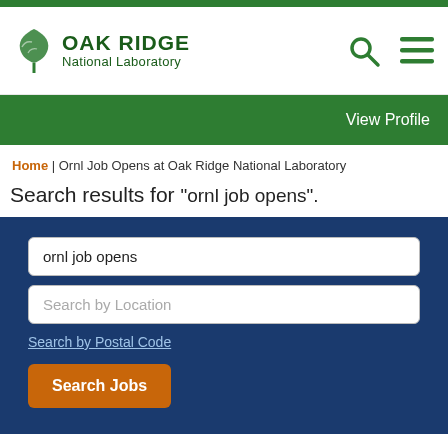[Figure (logo): Oak Ridge National Laboratory logo with oak leaf icon and green text]
View Profile
Home | Ornl Job Opens at Oak Ridge National Laboratory
Search results for "ornl job opens".
ornl job opens
Search by Location
Search by Postal Code
Search Jobs
Select how often (in days) to receive an alert: 7